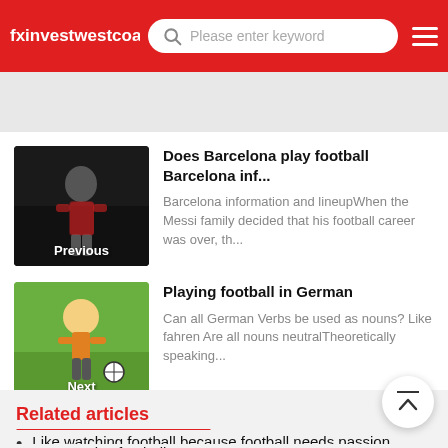fxinvestwestcoast
[Figure (screenshot): Previous article thumbnail: footballer in red jersey, dark background, label 'Previous']
Does Barcelona play football Barcelona inf...
Barcelona information and lineupWhen the Messi family decided that his football career was over, th...
[Figure (illustration): Next article thumbnail: cartoon footballer illustration, green background, label 'Next']
Playing football in German
Can all German Verbs be used as nouns? Like fahren Are all nouns neutralTheoretically speaking...
Related articles
Like watching football because football needs passion
I want to play football
FA Dou plays football